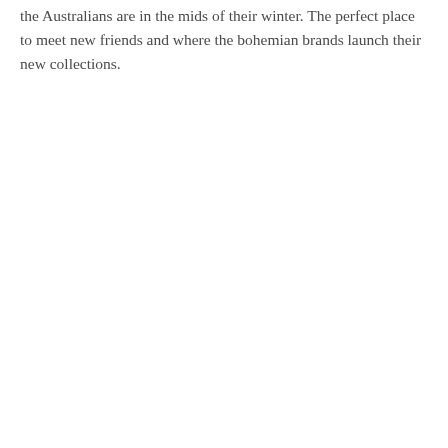the Australians are in the mids of their winter. The perfect place to meet new friends and where the bohemian brands launch their new collections.